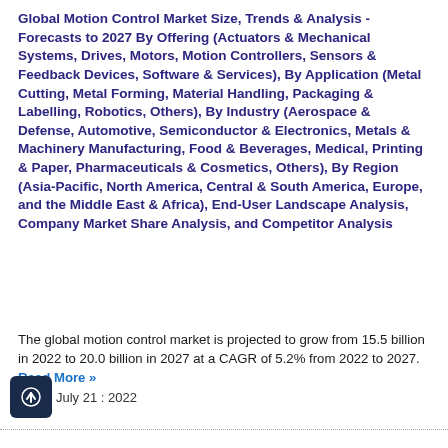Global Motion Control Market Size, Trends & Analysis - Forecasts to 2027 By Offering (Actuators & Mechanical Systems, Drives, Motors, Motion Controllers, Sensors & Feedback Devices, Software & Services), By Application (Metal Cutting, Metal Forming, Material Handling, Packaging & Labelling, Robotics, Others), By Industry (Aerospace & Defense, Automotive, Semiconductor & Electronics, Metals & Machinery Manufacturing, Food & Beverages, Medical, Printing & Paper, Pharmaceuticals & Cosmetics, Others), By Region (Asia-Pacific, North America, Central & South America, Europe, and the Middle East & Africa), End-User Landscape Analysis, Company Market Share Analysis, and Competitor Analysis
The global motion control market is projected to grow from 15.5 billion in 2022 to 20.0 billion in 2027 at a CAGR of 5.2% from 2022 to 2027. Read More »
July 21 : 2022